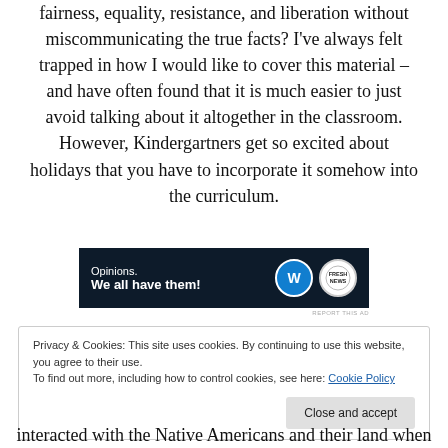fairness, equality, resistance, and liberation without miscommunicating the true facts? I've always felt trapped in how I would like to cover this material – and have often found that it is much easier to just avoid talking about it altogether in the classroom. However, Kindergartners get so excited about holidays that you have to incorporate it somehow into the curriculum.
[Figure (other): Advertisement banner with dark navy background. Text reads 'Opinions. We all have them!' with WordPress logo and FreshNews logo on the right.]
Privacy & Cookies: This site uses cookies. By continuing to use this website, you agree to their use. To find out more, including how to control cookies, see here: Cookie Policy
interacted with the Native Americans and their land when